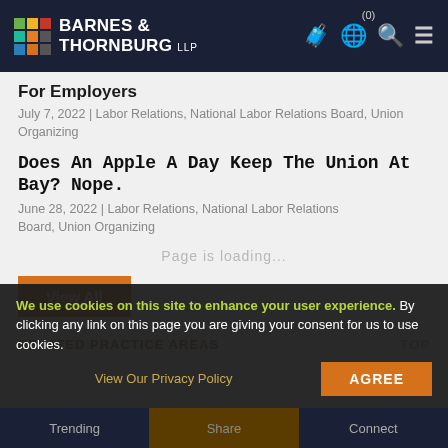Barnes & Thornburg LLP
For Employers
July 7, 2022 | Labor Relations, National Labor Relations Board, Union Organizing
Does An Apple A Day Keep The Union At Bay? Nope.
June 28, 2022 | Labor Relations, National Labor Relations Board, Union Organizing
Page is loading...
View All
RELATED PRACTICE AREAS
We use cookies on this site to enhance your user experience. By clicking any link on this page you are giving your consent for us to use cookies.
View Our Privacy Policy
AGREE
Trending | Share | Connect